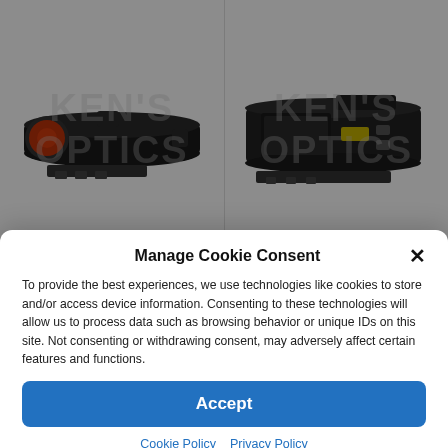[Figure (photo): Aimpoint ACO Red Dot scope product photo on white background with Ken's Optics watermark]
[Figure (photo): EOTech HHS II scope product photo on white background with Ken's Optics watermark]
Aimpoint ACO Red Dot
EOTech HHS II
Manage Cookie Consent
To provide the best experiences, we use technologies like cookies to store and/or access device information. Consenting to these technologies will allow us to process data such as browsing behavior or unique IDs on this site. Not consenting or withdrawing consent, may adversely affect certain features and functions.
Accept
Cookie Policy
Privacy Policy